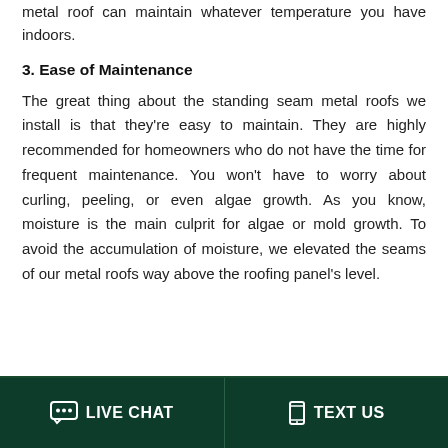metal roof can maintain whatever temperature you have indoors.
3. Ease of Maintenance
The great thing about the standing seam metal roofs we install is that they're easy to maintain. They are highly recommended for homeowners who do not have the time for frequent maintenance. You won't have to worry about curling, peeling, or even algae growth. As you know, moisture is the main culprit for algae or mold growth. To avoid the accumulation of moisture, we elevated the seams of our metal roofs way above the roofing panel's level.
LIVE CHAT | TEXT US